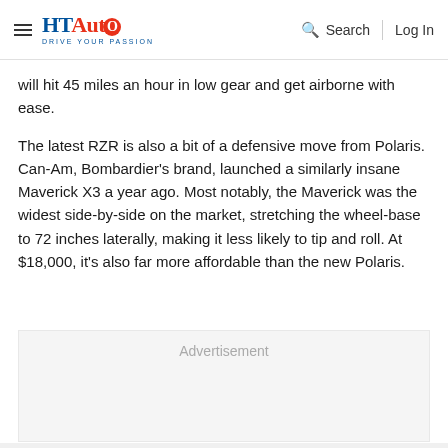HT Auto — Drive Your Passion | Search | Log In
will hit 45 miles an hour in low gear and get airborne with ease.
The latest RZR is also a bit of a defensive move from Polaris. Can-Am, Bombardier's brand, launched a similarly insane Maverick X3 a year ago. Most notably, the Maverick was the widest side-by-side on the market, stretching the wheel-base to 72 inches laterally, making it less likely to tip and roll. At $18,000, it's also far more affordable than the new Polaris.
[Figure (other): Advertisement placeholder box with gray background]